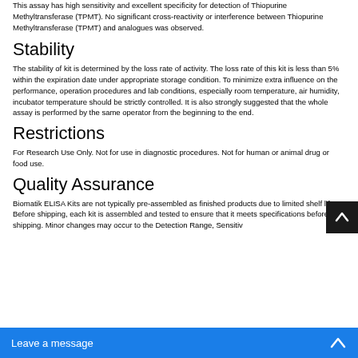This assay has high sensitivity and excellent specificity for detection of Thiopurine Methyltransferase (TPMT). No significant cross-reactivity or interference between Thiopurine Methyltransferase (TPMT) and analogues was observed.
Stability
The stability of kit is determined by the loss rate of activity. The loss rate of this kit is less than 5% within the expiration date under appropriate storage condition. To minimize extra influence on the performance, operation procedures and lab conditions, especially room temperature, air humidity, incubator temperature should be strictly controlled. It is also strongly suggested that the whole assay is performed by the same operator from the beginning to the end.
Restrictions
For Research Use Only. Not for use in diagnostic procedures. Not for human or animal drug or food use.
Quality Assurance
Biomatik ELISA Kits are not typically pre-assembled as finished products due to limited shelf life. Before shipping, each kit is assembled and tested to ensure that it meets specifications before shipping. Minor changes may occur to the Detection Range, Sensitiv…